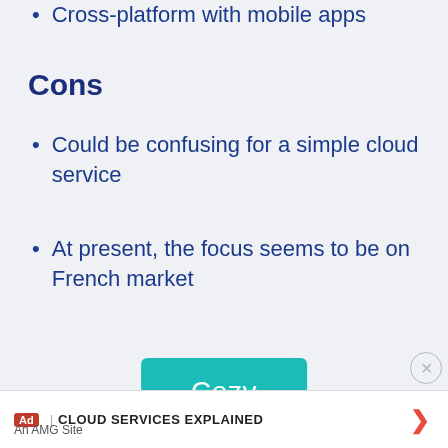Cross-platform with mobile apps
Cons
Could be confusing for a simple cloud service
At present, the focus seems to be on French market
[Figure (other): Cozy button (teal/turquoise rounded rectangle with white text 'Cozy')]
7. Seafile (can be self-hosted)
CLOUD SERVICES EXPLAINED | An AMG Site